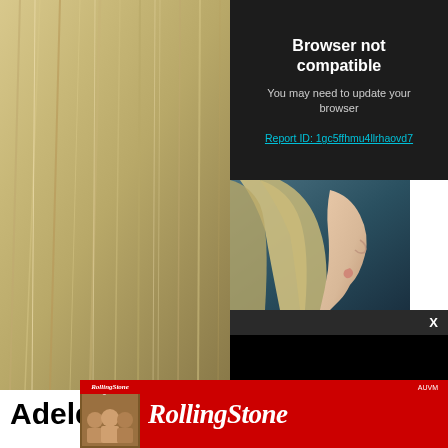[Figure (screenshot): Browser not compatible error modal overlay on top of a Rolling Stone article page about Adele. The modal shows 'Browser not compatible', 'You may need to update your browser', and a report ID link. Below is a black video player area with an X close button. The underlying page shows a blonde woman's profile photo and article text beginning with 'Adele,' and a quote about feelings. At the bottom is a Rolling Stone magazine advertisement banner.]
Browser not compatible
You may need to update your browser
Report ID: 1gc5ffhmu4llrhaovd7
Adele, '
“How do I feel so much and not feel at all?” Adele… into the most pow… she’s become a be…
[Figure (logo): Rolling Stone magazine logo in white italic script on red banner background]